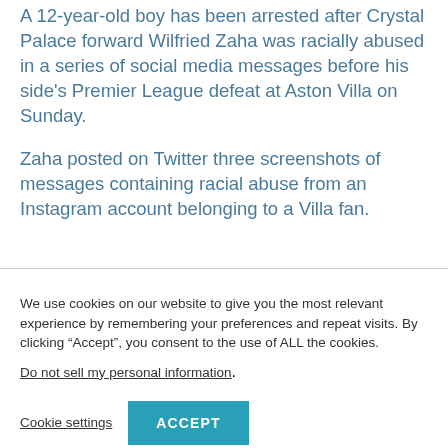A 12-year-old boy has been arrested after Crystal Palace forward Wilfried Zaha was racially abused in a series of social media messages before his side's Premier League defeat at Aston Villa on Sunday.
Zaha posted on Twitter three screenshots of messages containing racial abuse from an Instagram account belonging to a Villa fan.
We use cookies on our website to give you the most relevant experience by remembering your preferences and repeat visits. By clicking "Accept", you consent to the use of ALL the cookies. Do not sell my personal information.